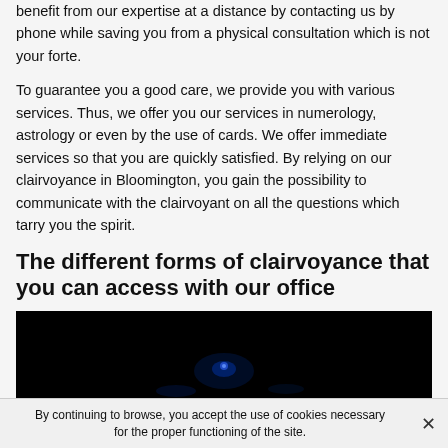benefit from our expertise at a distance by contacting us by phone while saving you from a physical consultation which is not your forte.
To guarantee you a good care, we provide you with various services. Thus, we offer you our services in numerology, astrology or even by the use of cards. We offer immediate services so that you are quickly satisfied. By relying on our clairvoyance in Bloomington, you gain the possibility to communicate with the clairvoyant on all the questions which tarry you the spirit.
The different forms of clairvoyance that you can access with our office
[Figure (photo): Dark/black background with faint blue light or glowing element, mystical atmosphere]
By continuing to browse, you accept the use of cookies necessary for the proper functioning of the site.